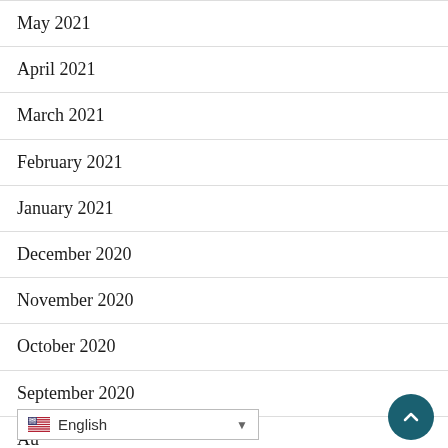May 2021
April 2021
March 2021
February 2021
January 2021
December 2020
November 2020
October 2020
September 2020
Au…